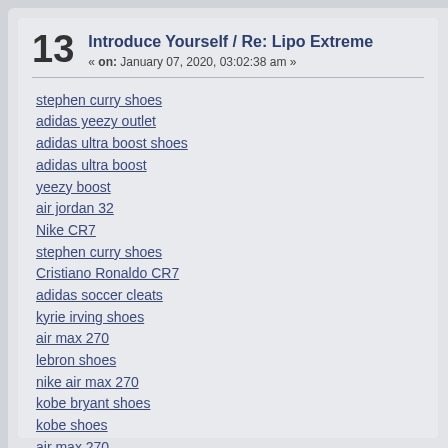13  Introduce Yourself / Re: Lipo Extreme
« on: January 07, 2020, 03:02:38 am »
stephen curry shoes
adidas yeezy outlet
adidas ultra boost shoes
adidas ultra boost
yeezy boost
air jordan 32
Nike CR7
stephen curry shoes
Cristiano Ronaldo CR7
adidas soccer cleats
kyrie irving shoes
air max 270
lebron shoes
nike air max 270
kobe bryant shoes
kobe shoes
air max 270
adidas yeezy boost
yeezy boost
lebron soldier 11
air force 1